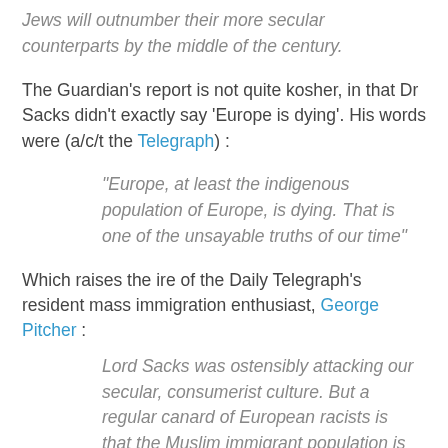Jews will outnumber their more secular counterparts by the middle of the century.
The Guardian's report is not quite kosher, in that Dr Sacks didn't exactly say 'Europe is dying'. His words were (a/c/t the Telegraph) :
“Europe, at least the indigenous population of Europe, is dying. That is one of the unsayable truths of our time”
Which raises the ire of the Daily Telegraph's resident mass immigration enthusiast, George Pitcher :
Lord Sacks was ostensibly attacking our secular, consumerist culture. But a regular canard of European racists is that the Muslim immigrant population is “out-breeding” other ethnicities. They usually add that the name Mohammed is now the most popular boy’s name in some cities.